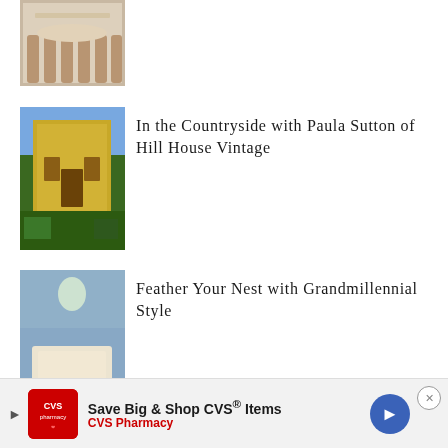[Figure (photo): Partially visible thumbnail of a dining room with chairs at top of page]
[Figure (photo): Thumbnail of a yellow/ochre country house exterior with green hedges]
In the Countryside with Paula Sutton of Hill House Vintage
[Figure (photo): Thumbnail of an elegant blue interior room with chandelier and fireplace]
Feather Your Nest with Grandmillennial Style
[Figure (photo): Thumbnail of a cozy cottage interior with painting and armchairs]
Cathy Kincaid Revives an 18th Century Ferryman's Cottage
[Figure (photo): Partially visible thumbnail at bottom]
Mario Buatta and the English
Save Big & Shop CVS® Items CVS Pharmacy